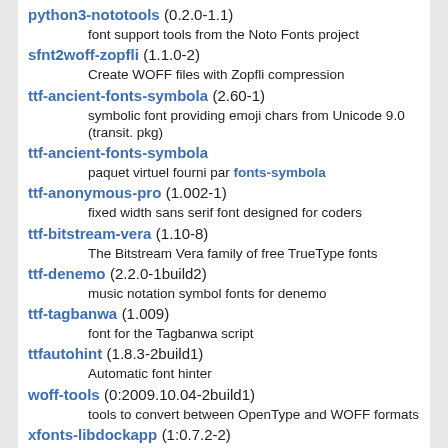python3-nototools (0.2.0-1.1)
    font support tools from the Noto Fonts project
sfnt2woff-zopfli (1.1.0-2)
    Create WOFF files with Zopfli compression
ttf-ancient-fonts-symbola (2.60-1)
    symbolic font providing emoji chars from Unicode 9.0 (transit. pkg)
ttf-ancient-fonts-symbola
    paquet virtuel fourni par fonts-symbola
ttf-anonymous-pro (1.002-1)
    fixed width sans serif font designed for coders
ttf-bitstream-vera (1.10-8)
    The Bitstream Vera family of free TrueType fonts
ttf-denemo (2.2.0-1build2)
    music notation symbol fonts for denemo
ttf-tagbanwa (1.009)
    font for the Tagbanwa script
ttfautohint (1.8.3-2build1)
    Automatic font hinter
woff-tools (0:2009.10.04-2build1)
    tools to convert between OpenType and WOFF formats
xfonts-libdockapp (1:0.7.2-2)
    Window Maker Dock App support (fonts)
xfonts-mona (2.90-8)
    Proportional X fonts for 2ch ASCII art